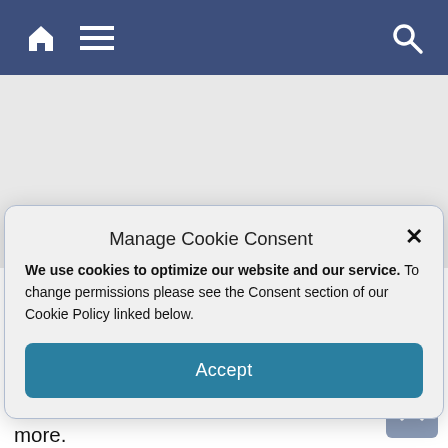Navigation bar with home, menu, and search icons
Manage Cookie Consent
We use cookies to optimize our website and our service. To change permissions please see the Consent section of our Cookie Policy linked below.
Accept
downcast right eye is a perfect profile image of Juan Diego. Years later, using computer imaging, scientists found as many as 18 persons in the eyes of the Virgin, one very Ghandi-like, another a black woman, and more.